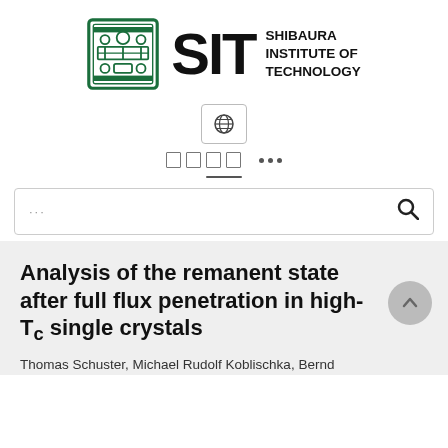[Figure (logo): Shibaura Institute of Technology (SIT) logo with green emblem and bold SIT letters alongside institution name]
[Figure (screenshot): Website navigation area with globe icon button, Japanese text menu, dots menu, and search bar]
Analysis of the remanent state after full flux penetration in high-Tc single crystals
Thomas Schuster, Michael Rudolf Koblischka, Bernd